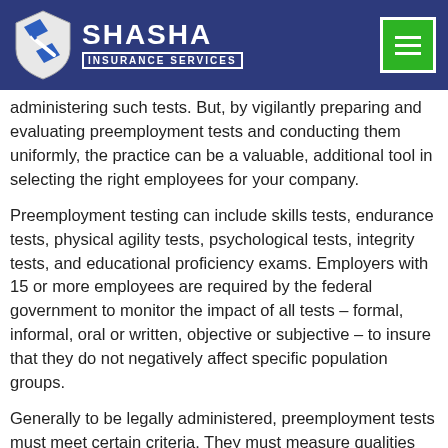SHASHA INSURANCE SERVICES
administering such tests. But, by vigilantly preparing and evaluating preemployment tests and conducting them uniformly, the practice can be a valuable, additional tool in selecting the right employees for your company.
Preemployment testing can include skills tests, endurance tests, physical agility tests, psychological tests, integrity tests, and educational proficiency exams. Employers with 15 or more employees are required by the federal government to monitor the impact of all tests – formal, informal, oral or written, objective or subjective – to insure that they do not negatively affect specific population groups.
Generally to be legally administered, preemployment tests must meet certain criteria. They must measure qualities and traits that have high relevancy to job performance; the content of a test must reflect the skills required to do the actual job; and if the